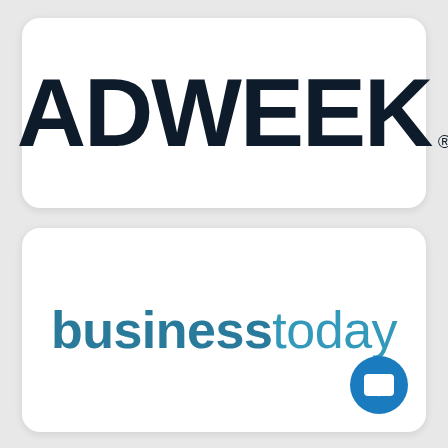[Figure (logo): ADWEEK logo in bold dark navy uppercase text with registered trademark symbol, inside a white rounded rectangle card]
[Figure (logo): businesstoday logo in teal/blue lowercase text, inside a white rounded rectangle card, with an Amazon-style chat icon in the bottom right corner]